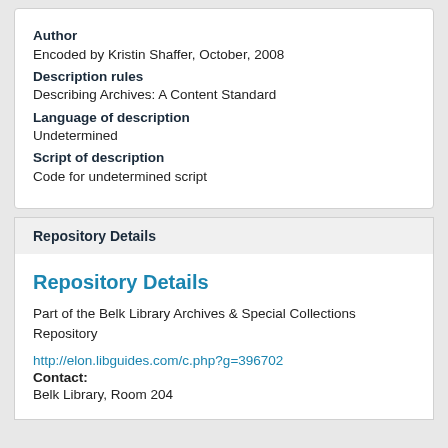Author
Encoded by Kristin Shaffer, October, 2008
Description rules
Describing Archives: A Content Standard
Language of description
Undetermined
Script of description
Code for undetermined script
Repository Details
Repository Details
Part of the Belk Library Archives & Special Collections Repository
http://elon.libguides.com/c.php?g=396702
Contact:
Belk Library, Room 204